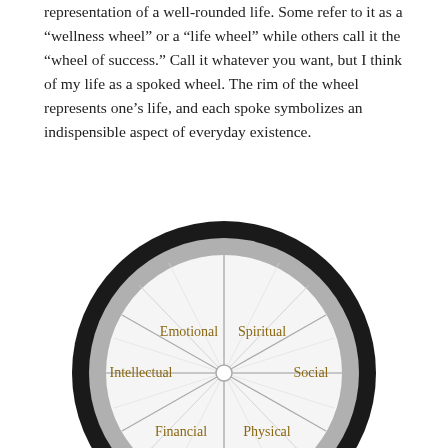A wheel is often used to depict the quintessential representation of a well-rounded life. Some refer to it as a “wellness wheel” or a “life wheel” while others call it the “wheel of success.” Call it whatever you want, but I think of my life as a spoked wheel. The rim of the wheel represents one’s life, and each spoke symbolizes an indispensible aspect of everyday existence.
[Figure (other): A spoked wheel diagram representing a wellness or life wheel. The wheel has a thick black outer rim with a gray inner ring and white interior. Six labeled spokes divide the wheel: Emotional (upper left), Spiritual (upper right), Intellectual (left), Social (right), Financial (lower left), Physical (lower right). Additional thinner lines subdivide each section. A small white circle sits at the center hub.]